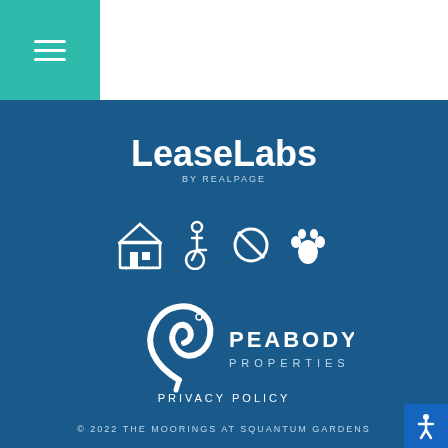[Figure (logo): LeaseLabs by RealPage white logo on dark blue background]
[Figure (infographic): Row of compliance icons: Equal Housing Opportunity, wheelchair accessibility, no-smoking, pet-friendly paw print]
[Figure (logo): Peabody Properties white logo with stylized P fish on dark blue background]
PRIVACY POLICY
© 2022 THE MOORINGS AT SQUANTUM GARDENS